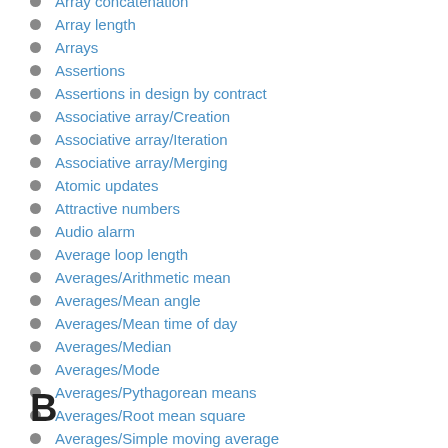Array concatenation
Array length
Arrays
Assertions
Assertions in design by contract
Associative array/Creation
Associative array/Iteration
Associative array/Merging
Atomic updates
Attractive numbers
Audio alarm
Average loop length
Averages/Arithmetic mean
Averages/Mean angle
Averages/Mean time of day
Averages/Median
Averages/Mode
Averages/Pythagorean means
Averages/Root mean square
Averages/Simple moving average
B